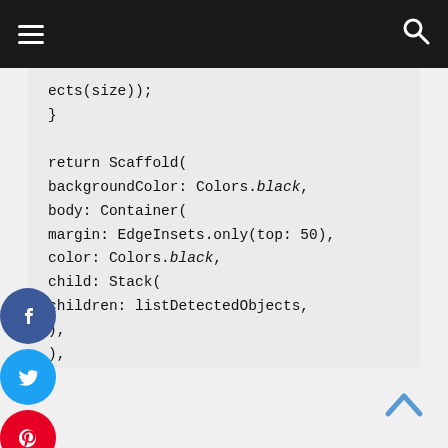navigation bar with hamburger menu and search icon
ects(size));
}

return Scaffold(
backgroundColor: Colors.black,
body: Container(
margin: EdgeInsets.only(top: 50),
color: Colors.black,
child: Stack(
children: listDetectedObjects,
),
),
);
}